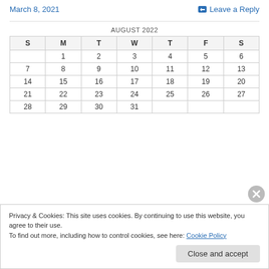March 8, 2021    Leave a Reply
| S | M | T | W | T | F | S |
| --- | --- | --- | --- | --- | --- | --- |
|  | 1 | 2 | 3 | 4 | 5 | 6 |
| 7 | 8 | 9 | 10 | 11 | 12 | 13 |
| 14 | 15 | 16 | 17 | 18 | 19 | 20 |
| 21 | 22 | 23 | 24 | 25 | 26 | 27 |
| 28 | 29 | 30 | 31 |  |  |  |
Privacy & Cookies: This site uses cookies. By continuing to use this website, you agree to their use. To find out more, including how to control cookies, see here: Cookie Policy
Close and accept